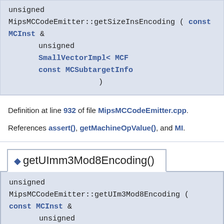unsigned MipsMCCodeEmitter::getSizeInsEncoding ( const MCInst & unsigned SmallVectorImpl< MCF const MCSubtargetInfo )
Definition at line 932 of file MipsMCCodeEmitter.cpp. References assert(), getMachineOpValue(), and MI.
◆ getUImm3Mod8Encoding()
unsigned MipsMCCodeEmitter::getUIm3Mod8Encoding ( const MCInst & unsigned SmallVectorImpl< const MCSubtarge